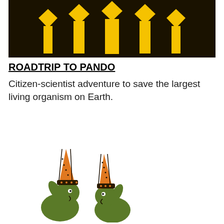[Figure (illustration): Dark brown background with yellow geometric tree/comb-like symbol made of arrows and vertical bars]
ROADTRIP TO PANDO
Citizen-scientist adventure to save the largest living organism on Earth.
[Figure (illustration): Two green cartoon rabbit-like creatures facing each other, wearing tall orange and black striped bishop/papal mitre hats, with small white eyes and raised hands]